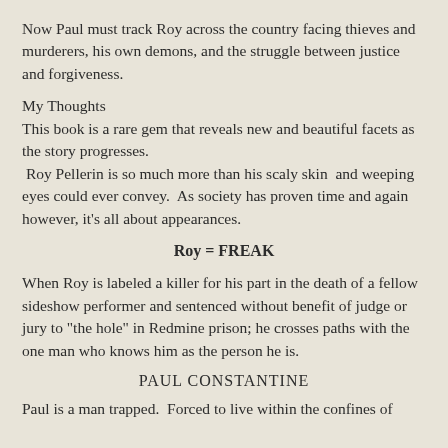Now Paul must track Roy across the country facing thieves and murderers, his own demons, and the struggle between justice and forgiveness.
My Thoughts
This book is a rare gem that reveals new and beautiful facets as the story progresses.
 Roy Pellerin is so much more than his scaly skin  and weeping eyes could ever convey.  As society has proven time and again however, it's all about appearances.
Roy = FREAK
When Roy is labeled a killer for his part in the death of a fellow sideshow performer and sentenced without benefit of judge or jury to "the hole" in Redmine prison; he crosses paths with the one man who knows him as the person he is.
PAUL CONSTANTINE
Paul is a man trapped.  Forced to live within the confines of